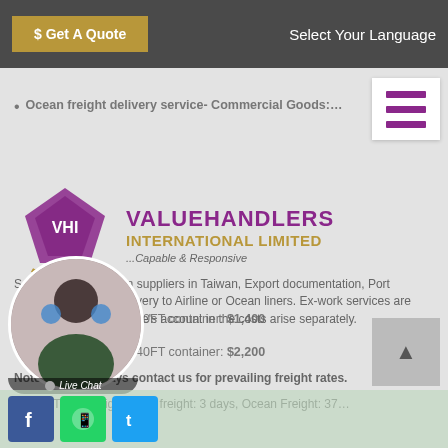$ Get A Quote   Select Your Language
[Figure (logo): Valuehandlers International Limited logo with diamond/gem icon and tagline '...Capable & Responsive']
Ocean freight delivery service- Commercial Goods:
Cost of shipping 20FT container: $1,400
Cost of shipping 40FT container: $2,200
Note: Please always contact us for prevailing freight rates.
Transit Time to Nigeria (Air freight: 3 days, Ocean Freight: 37 days)
Services: Pick up from suppliers in Taiwan, Export documentation, Port charges/levies and delivery to Airline or Ocean liners. Ex-work services are charged to the consignee's account in the costs arise separately.